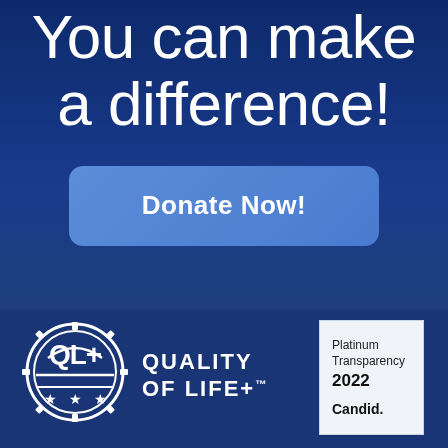You can make a difference!
[Figure (other): Blue rounded rectangle button with white bold text 'Donate Now!']
[Figure (logo): Quality of Life+ circular logo with QL+ text and stars, white on dark blue background]
[Figure (other): Candid Platinum Transparency 2022 badge, light gray and white rectangle with black text]